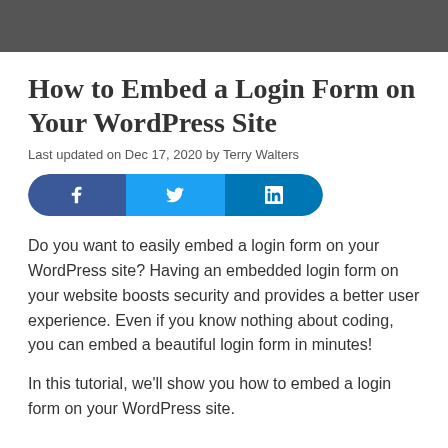How to Embed a Login Form on Your WordPress Site
Last updated on Dec 17, 2020 by Terry Walters
[Figure (infographic): Social share buttons: Facebook (blue), Twitter (light blue), LinkedIn (dark blue)]
Do you want to easily embed a login form on your WordPress site? Having an embedded login form on your website boosts security and provides a better user experience. Even if you know nothing about coding, you can embed a beautiful login form in minutes!
In this tutorial, we'll show you how to embed a login form on your WordPress site.